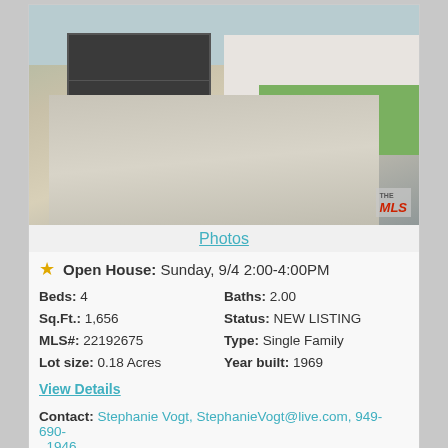[Figure (photo): Exterior photo of a single-family home showing a two-car garage with dark doors, white house exterior, green lawn, shrubs, and a wide concrete driveway. MLS logo visible in bottom right corner.]
Photos
★  Open House:  Sunday, 9/4 2:00-4:00PM
| Beds: 4 | Baths: 2.00 |
| Sq.Ft.: 1,656 | Status: NEW LISTING |
| MLS#: 22192675 | Type: Single Family |
| Lot size: 0.18 Acres | Year built: 1969 |
View Details
Contact: Stephanie Vogt, StephanieVogt@live.com, 949-690-1946